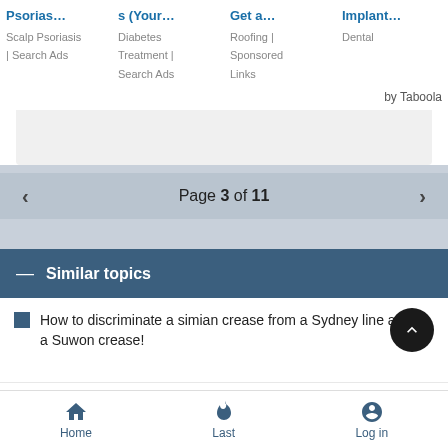[Figure (screenshot): Ad grid with 4 sponsored items: Psoriasis/Scalp Psoriasis Search Ads, Diabetes Treatment Search Ads, Roofing Sponsored Links, Dental Implant ads, with 'by Taboola' label]
by Taboola
Page 3 of 11
Similar topics
How to discriminate a simian crease from a Sydney line a Suwon crease!
Is this Suwon Crease or Sydney Line?
Home   Last   Log in